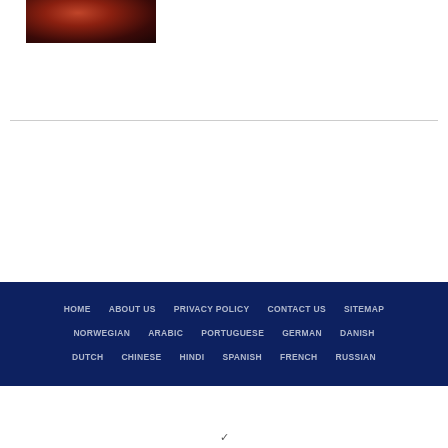[Figure (photo): Dark reddish-brown image, appears to be a dimly lit scene with warm amber/red tones]
HOME  ABOUT US  PRIVACY POLICY  CONTACT US  SITEMAP
NORWEGIAN  ARABIC  PORTUGUESE  GERMAN  DANISH
DUTCH  CHINESE  HINDI  SPANISH  FRENCH  RUSSIAN